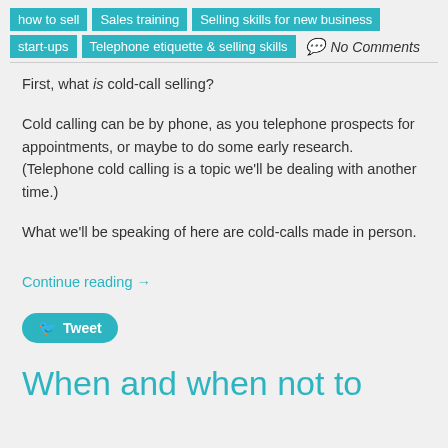how to sell
Sales training
Selling skills for new business
start-ups
Telephone etiquette & selling skills
No Comments
First, what is cold-call selling?
Cold calling can be by phone, as you telephone prospects for appointments, or maybe to do some early research. (Telephone cold calling is a topic we'll be dealing with another time.)
What we'll be speaking of here are cold-calls made in person.
Continue reading →
Tweet
When and when not to